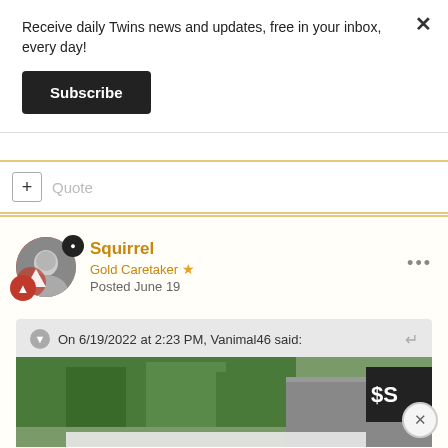Receive daily Twins news and updates, free in your inbox, every day!
Subscribe
+ Quote
Squirrel
Gold Caretaker ★
Posted June 19
On 6/19/2022 at 2:23 PM, Vanimal46 said:
[Figure (photo): Quoted post image showing outdoor scene with trees and a sign reading '$S', partially cropped]